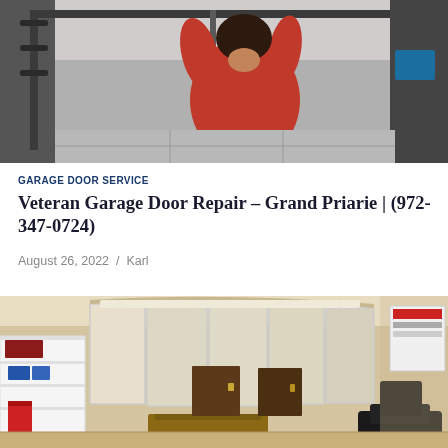[Figure (photo): A technician in a red shirt working on a garage door mechanism from inside, reaching up toward the ceiling track and springs.]
GARAGE DOOR SERVICE
Veteran Garage Door Repair – Grand Priarie | (972-347-0724)
August 26, 2022  /  Karl
[Figure (photo): A wide-angle panoramic interior view of an office space with large curved windows, shelving units on the left, a wooden desk in the center, and a leather chair. A blue scroll-to-top button overlays the right side.]